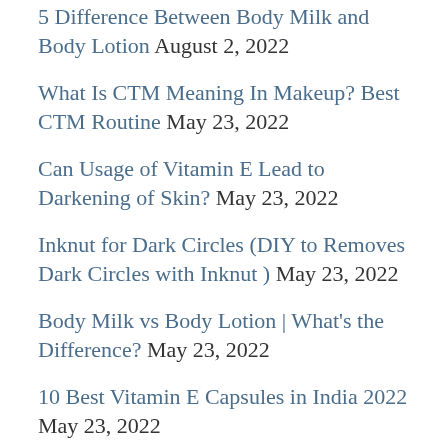5 Difference Between Body Milk and Body Lotion August 2, 2022
What Is CTM Meaning In Makeup? Best CTM Routine May 23, 2022
Can Usage of Vitamin E Lead to Darkening of Skin? May 23, 2022
Inknut for Dark Circles (DIY to Removes Dark Circles with Inknut ) May 23, 2022
Body Milk vs Body Lotion | What's the Difference? May 23, 2022
10 Best Vitamin E Capsules in India 2022 May 23, 2022